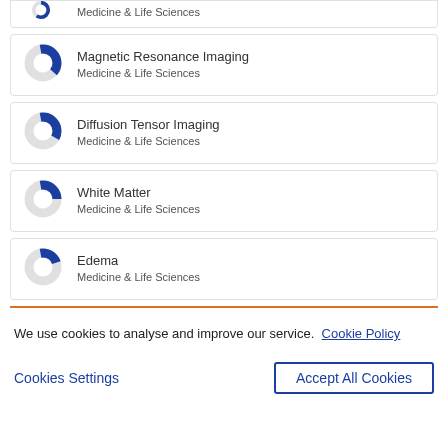Medicine & Life Sciences (partial donut chart item at top)
Magnetic Resonance Imaging — Medicine & Life Sciences
Diffusion Tensor Imaging — Medicine & Life Sciences
White Matter — Medicine & Life Sciences
Edema — Medicine & Life Sciences
We use cookies to analyse and improve our service. Cookie Policy
Cookies Settings   Accept All Cookies